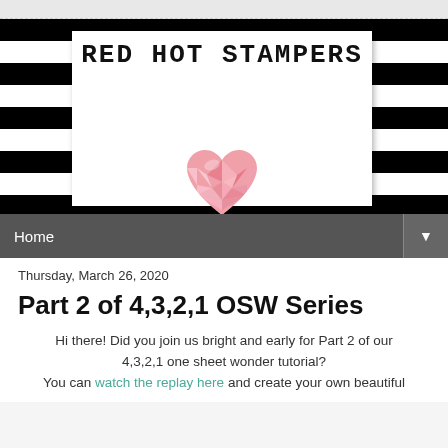[Figure (logo): Red Hot Stampers blog header with black and white horizontal stripes background, white card with text 'RED HOT STAMPERS' in bold monospace font, and a pink geometric crystal heart logo below the text]
Home ▼
Thursday, March 26, 2020
Part 2 of 4,3,2,1 OSW Series
Hi there! Did you join us bright and early for Part 2 of our 4,3,2,1 one sheet wonder tutorial?
You can watch the replay here and create your own beautiful